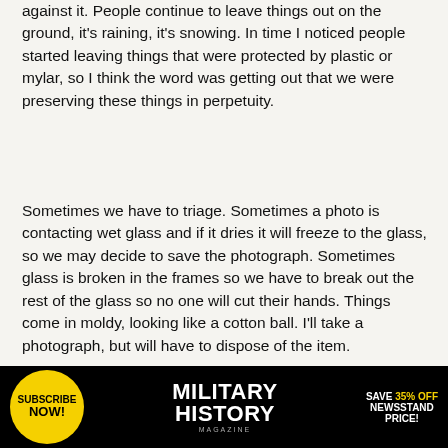against it. People continue to leave things out on the ground, it's raining, it's snowing. In time I noticed people started leaving things that were protected by plastic or mylar, so I think the word was getting out that we were preserving these things in perpetuity.
Sometimes we have to triage. Sometimes a photo is contacting wet glass and if it dries it will freeze to the glass, so we may decide to save the photograph. Sometimes glass is broken in the frames so we have to break out the rest of the glass so no one will cut their hands. Things come in moldy, looking like a cotton ball. I'll take a photograph, but will have to dispose of the item.
How do you triage, and are items from the
[Figure (infographic): Advertisement banner for Military History Magazine: Subscribe Now! Save 35% Off Newsstand Price!]